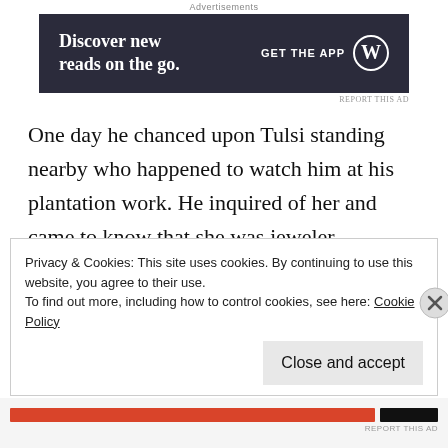Advertisements
[Figure (other): Advertisement banner: dark navy background with white text 'Discover new reads on the go.' and 'GET THE APP' with WordPress logo on right]
One day he chanced upon Tulsi standing nearby who happened to watch him at his plantation work. He inquired of her and came to know that she was jeweler Jayaram's daughter. One day she asked if she could assist him at his work in the plantation. He replied on one condition that she should accept her fair share of the produce
Privacy & Cookies: This site uses cookies. By continuing to use this website, you agree to their use.
To find out more, including how to control cookies, see here: Cookie Policy
Close and accept